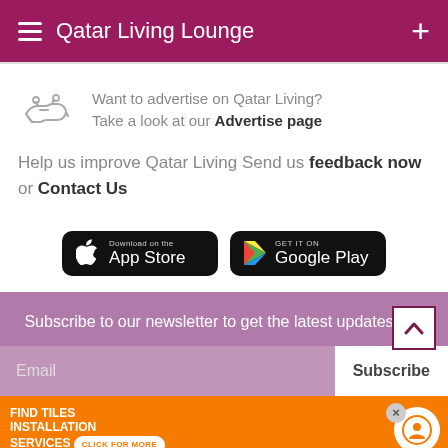Qatar Living Lounge
Want to advertise on Qatar Living? Take a look at our Advertise page
Help us improve Qatar Living Send us feedback now or Contact Us
[Figure (screenshot): App Store and Google Play download buttons]
Subscribe to our newsletter to get the latest updates
Email   Subscribe
[Figure (infographic): Advertisement banner: FIND TILES INSTALLATION SERVICES - CLICK FOR MORE]